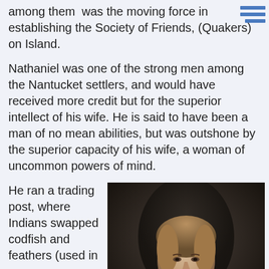among them  was the moving force in establishing the Society of Friends, (Quakers) on Island.
Nathaniel was one of the strong men among the Nantucket settlers, and would have received more credit but for the superior intellect of his wife. He is said to have been a man of no mean abilities, but was outshone by the superior capacity of his wife, a woman of uncommon powers of mind.
He ran a trading post, where Indians swapped codfish and feathers (used in
[Figure (photo): Portrait painting of a woman with light brown hair, wearing period clothing, depicted in a dark background suggesting a classical painted portrait style.]